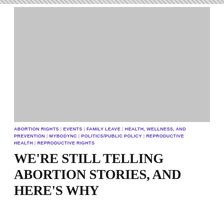[Figure (photo): Large gray placeholder image for a photo or illustration related to the article]
ABORTION RIGHTS | EVENTS | FAMILY LEAVE | HEALTH, WELLNESS, AND PREVENTION | MYBODYNC | POLITICS/PUBLIC POLICY | REPRODUCTIVE HEALTH | REPRODUCTIVE RIGHTS
WE'RE STILL TELLING ABORTION STORIES, AND HERE'S WHY